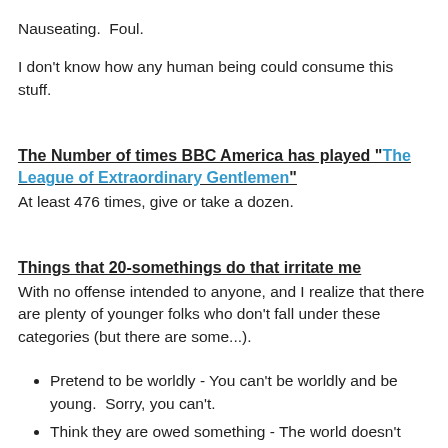Nauseating.  Foul.
I don't know how any human being could consume this stuff.
The Number of times BBC America has played "The League of Extraordinary Gentlemen"
At least 476 times, give or take a dozen.
Things that 20-somethings do that irritate me
With no offense intended to anyone, and I realize that there are plenty of younger folks who don't fall under these categories (but there are some...).
Pretend to be worldly - You can't be worldly and be young.  Sorry, you can't.
Think they are owed something - The world doesn't own you an education, a cellphone with a data plan, or a leadership position just out of college.  Speaking of education, "going to school"